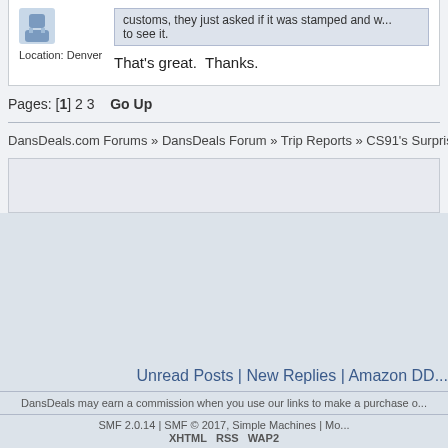Location: Denver
customs, they just asked if it was stamped and w... to see it.
That's great.  Thanks.
Pages: [1] 2 3  Go Up
DansDeals.com Forums » DansDeals Forum » Trip Reports » CS91's Surprise Trip to th...
Unread Posts | New Replies | Amazon DD...
DansDeals may earn a commission when you use our links to make a purchase o...
SMF 2.0.14 | SMF © 2017, Simple Machines | Mo...
XHTML  RSS  WAP2